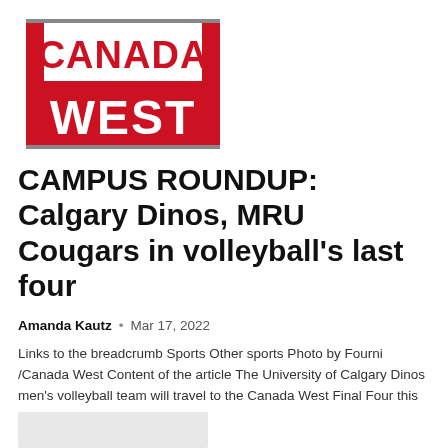[Figure (logo): Canada West logo — red and white rectangular logo with 'CANADA' text on top and 'WEST' text on bottom in bold, red background for WEST section, vertical red bars on sides]
CAMPUS ROUNDUP: Calgary Dinos, MRU Cougars in volleyball's last four
Amanda Kautz  •  Mar 17, 2022
Links to the breadcrumb Sports Other sports Photo by Fourni /Canada West Content of the article The University of Calgary Dinos men's volleyball team will travel to the Canada West Final Four this weekend...
[Figure (photo): Partial thumbnail image at bottom of page, gray/light colored]